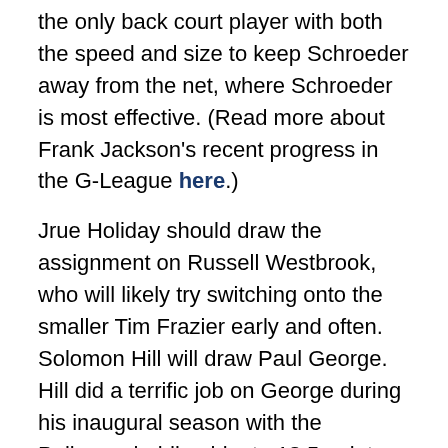the only back court player with both the speed and size to keep Schroeder away from the net, where Schroeder is most effective. (Read more about Frank Jackson's recent progress in the G-League here.)
Jrue Holiday should draw the assignment on Russell Westbrook, who will likely try switching onto the smaller Tim Frazier early and often. Solomon Hill will draw Paul George. Hill did a terrific job on George during his inaugural season with the Pelicans, holding him to 18.5 points on 40% shooting in two contests. Let's hope for similar success!
The Pelicans are 23-31 all-time versus the Thunder and have lost six of their previous eight.
Can the Pelicans reverse their fortunes and earn a statement victory? Comment below!